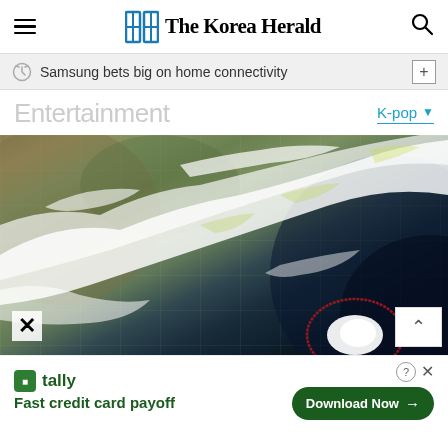The Korea Herald
Samsung bets big on home connectivity
Entertainment
K-pop
[Figure (photo): Satellite image showing cloud formations and a typhoon system (circled in red) over East Asia, with landmasses visible in yellow-green and ocean in dark blue.]
tally Fast credit card payoff Download Now →